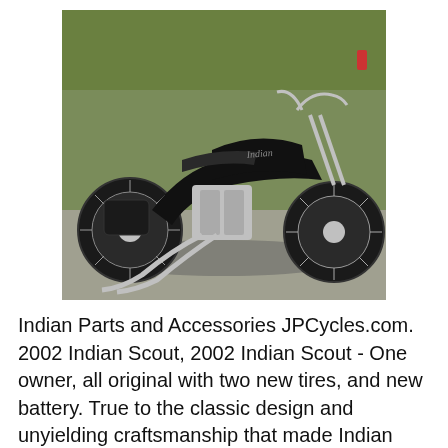[Figure (photo): A black 2002 Indian Scout motorcycle parked on a street, photographed from the left side. The motorcycle features chrome engine, spoke wheels, studded seat and saddlebags, and chrome exhaust pipes. Green trees and a red fire hydrant are visible in the background.]
Indian Parts and Accessories JPCycles.com. 2002 Indian Scout, 2002 Indian Scout - One owner, all original with two new tires, and new battery. True to the classic design and unyielding craftsmanship that made Indian Motorcycle one of America?s most revered brands for over 100